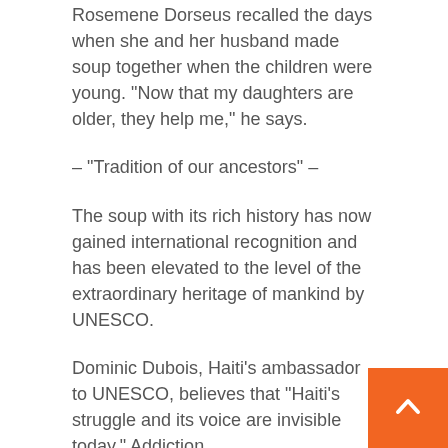Rosemene Dorseus recalled the days when she and her husband made soup together when the children were young. “Now that my daughters are older, they help me,” he says.
– “Tradition of our ancestors” –
The soup with its rich history has now gained international recognition and has been elevated to the level of the extraordinary heritage of mankind by UNESCO.
Dominic Dubois, Haiti’s ambassador to UNESCO, believes that “Haiti’s struggle and its voice are invisible today.” Addiction.
According to him, the dedication of “Jumo Soup” “historic correction”.